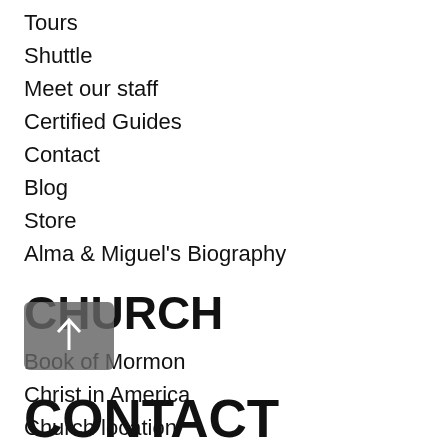Tours
Shuttle
Meet our staff
Certified Guides
Contact
Blog
Store
Alma & Miguel's Biography
CHURCH
Book of Mormon
Christ in America
Church location
Merida temple
Tree of life
Scripture study
CONTACT